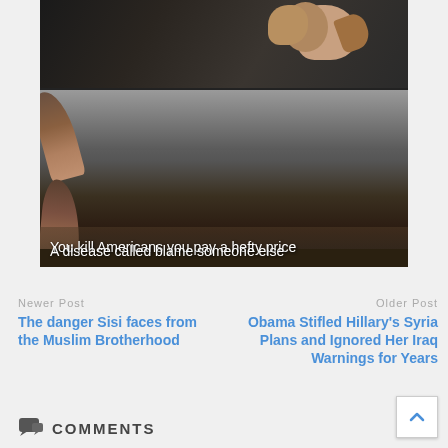[Figure (photo): Top image: A person in a suit pointing a finger, with text overlay 'A disease called blame someone else']
[Figure (photo): Bottom image: An explosion with large smoke plumes and fire, with text overlay 'You kill Americans you pay a hefty price']
Newer Post
The danger Sisi faces from the Muslim Brotherhood
Older Post
Obama Stifled Hillary's Syria Plans and Ignored Her Iraq Warnings for Years
COMMENTS